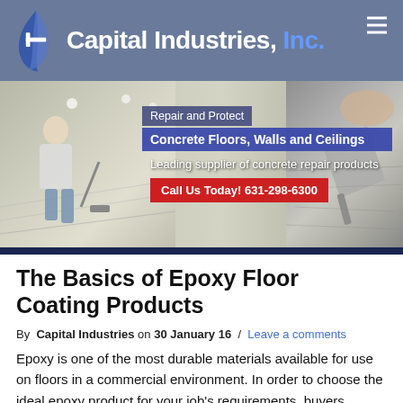Capital Industries, Inc.
[Figure (photo): Banner image showing a worker applying coating to a concrete floor (left) and a hand using a trowel on concrete (right), with overlay text boxes: 'Repair and Protect', 'Concrete Floors, Walls and Ceilings', 'Leading supplier of concrete repair products', and a red CTA button 'Call Us Today! 631-298-6300']
The Basics of Epoxy Floor Coating Products
By Capital Industries on 30 January 16 / Leave a comments
Epoxy is one of the most durable materials available for use on floors in a commercial environment. In order to choose the ideal epoxy product for your job's requirements, buyers should